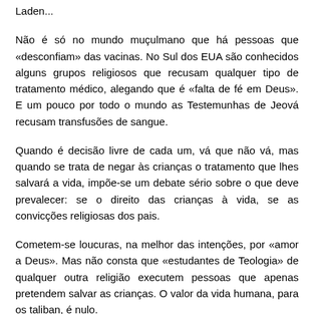Laden...
Não é só no mundo muçulmano que há pessoas que «desconfiam» das vacinas. No Sul dos EUA são conhecidos alguns grupos religiosos que recusam qualquer tipo de tratamento médico, alegando que é «falta de fé em Deus». E um pouco por todo o mundo as Testemunhas de Jeová recusam transfusões de sangue.
Quando é decisão livre de cada um, vá que não vá, mas quando se trata de negar às crianças o tratamento que lhes salvará a vida, impõe-se um debate sério sobre o que deve prevalecer: se o direito das crianças à vida, se as convicções religiosas dos pais.
Cometem-se loucuras, na melhor das intenções, por «amor a Deus». Mas não consta que «estudantes de Teologia» de qualquer outra religião executem pessoas que apenas pretendem salvar as crianças. O valor da vida humana, para os taliban, é nulo.
A vasta falange anti Americana naturalmente que acha bem